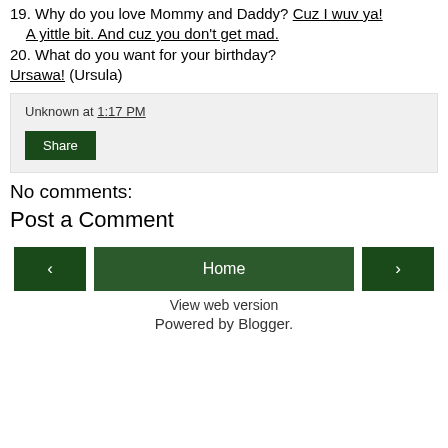19. Why do you love Mommy and Daddy? Cuz I wuv ya!
    A yittle bit. And cuz you don't get mad.
20. What do you want for your birthday? Ursawa! (Ursula)
Unknown at 1:17 PM
Share
No comments:
Post a Comment
‹  Home  ›
View web version
Powered by Blogger.